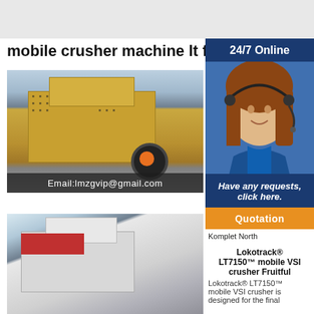mobile crusher machine lt for
[Figure (photo): Yellow mobile crusher machine in industrial factory setting with email overlay: Email:lmzgvip@gmail.com]
[Figure (photo): White mobile crusher machine in industrial factory setting]
[Figure (photo): 24/7 Online customer service representative with headset]
B
C
l
m
m
Komplet North
Lokotrack® LT7150™ mobile VSI crusher Fruitful
Lokotrack® LT7150™ mobile VSI crusher is designed for the final